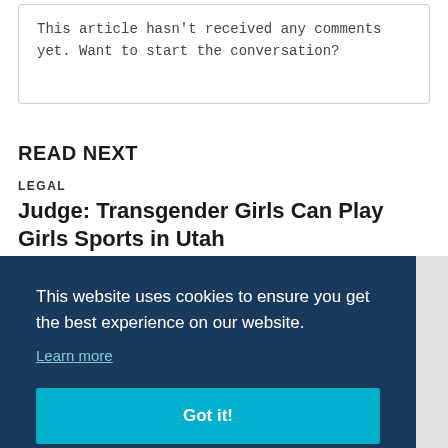This article hasn't received any comments yet. Want to start the conversation?
READ NEXT
LEGAL
Judge: Transgender Girls Can Play Girls Sports in Utah
This website uses cookies to ensure you get the best experience on our website.
Learn more
Got it!